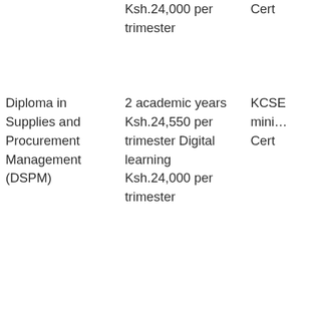|  | Ksh.24,000 per trimester | Cert… |
| Diploma in Supplies and Procurement Management (DSPM) | 2 academic years
Ksh.24,550 per trimester Digital learning
Ksh.24,000 per trimester | KCSE mini… Cert… |